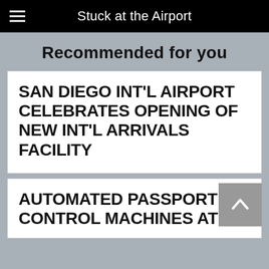Stuck at the Airport
Recommended for you
SAN DIEGO INT'L AIRPORT CELEBRATES OPENING OF NEW INT'L ARRIVALS FACILITY
AUTOMATED PASSPORT CONTROL MACHINES AT